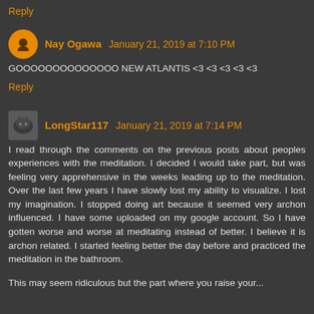Reply
Nay Ogawa  January 21, 2019 at 7:10 PM
GOOOOOOOOOOOOOO NEW ATLANTIS <3 <3 <3 <3 <3
Reply
LongStar117  January 21, 2019 at 7:14 PM
I read through the comments on the previous posts about peoples experiences with the meditation. I decided I would take part, but was feeling very apprehensive in the weeks leading up to the meditation. Over the last few years I have slowly lost my ability to visualize. I lost my imagination. I stopped doing art because it seemed very archon influenced. I have some uploaded on my google account. So I have gotten worse and worse at meditating instead of better. I believe it is archon related. I started feeling better the day before and practiced the meditation in the bathroom.
This may seem ridiculous but the part where you raise your...